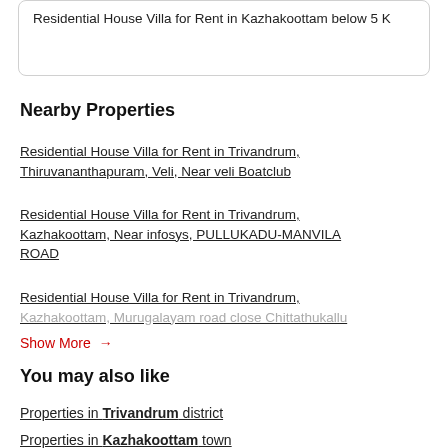Residential House Villa for Rent in Kazhakoottam below 5 K
Nearby Properties
Residential House Villa for Rent in Trivandrum, Thiruvananthapuram, Veli, Near veli Boatclub
Residential House Villa for Rent in Trivandrum, Kazhakoottam, Near infosys, PULLUKADU-MANVILA ROAD
Residential House Villa for Rent in Trivandrum, Kazhakoottam, Murugalayam road close Chittathukallu
Show More →
You may also like
Properties in Trivandrum district
Properties in Kazhakoottam town